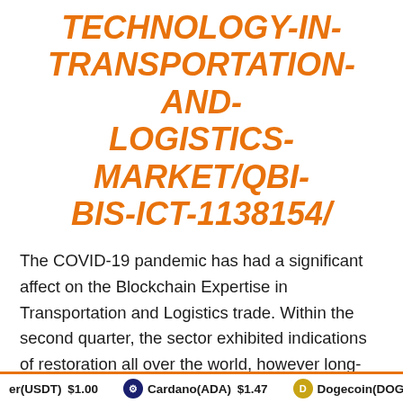TECHNOLOGY-IN-TRANSPORTATION-AND-LOGISTICS-MARKET/QBI-BIS-ICT-1138154/
The COVID-19 pandemic has had a significant affect on the Blockchain Expertise in Transportation and Logistics trade. Within the second quarter, the sector exhibited indications of restoration all over the world, however long-term restoration stays a priority as COVID-19 instances proceed to rise, notably in Asian nations like India.Because the pandemic started, the sector has been handed a sequence of setbacks and surprises. On account of the epidemic, many adjustments in purchaser
er(USDT) $1.00   Cardano(ADA) $1.47   Dogecoin(DOGE) $0.